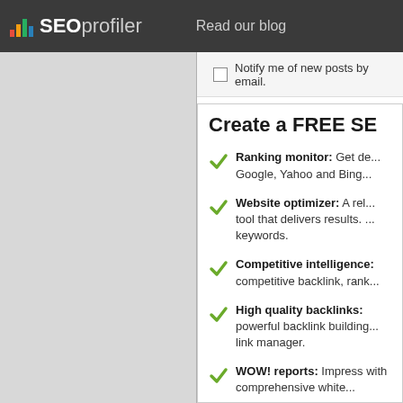SEOprofiler   Read our blog
Notify me of new posts by email.
Create a FREE SE
Ranking monitor: Get de... Google, Yahoo and Bing...
Website optimizer: A rel... tool that delivers results. ... keywords.
Competitive intelligence: competitive backlink, rank...
High quality backlinks: powerful backlink building... link manager.
WOW! reports: Impress with comprehensive white...
Regular website audit: